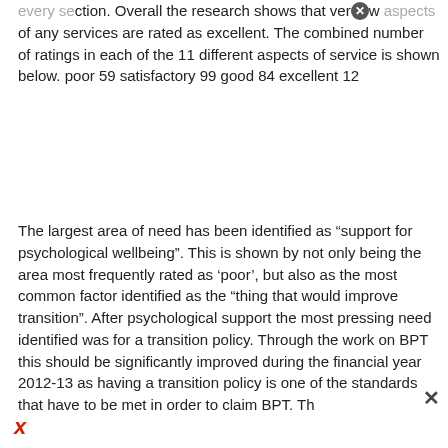every section. Overall the research shows that very few aspects of any services are rated as excellent. The combined number of ratings in each of the 11 different aspects of service is shown below. poor 59 satisfactory 99 good 84 excellent 12
The largest area of need has been identified as “support for psychological wellbeing”. This is shown by not only being the area most frequently rated as ‘poor’, but also as the most common factor identified as the “thing that would improve transition”. After psychological support the most pressing need identified was for a transition policy. Through the work on BPT this should be significantly improved during the financial year 2012-13 as having a transition policy is one of the standards that have to be met in order to claim BPT. Th